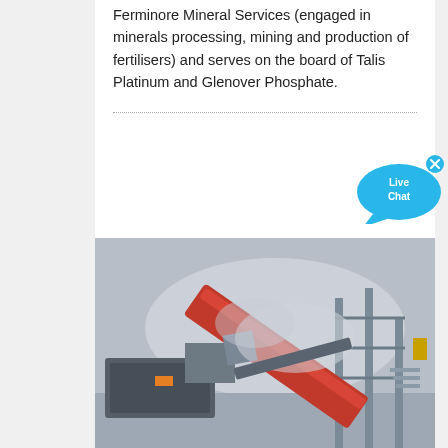Ferminore Mineral Services (engaged in minerals processing, mining and production of fertilisers) and serves on the board of Talis Platinum and Glenover Phosphate.
[Figure (illustration): Live Chat speech bubble widget with cyan/blue color and an X close button]
[Figure (photo): Industrial mining equipment including a large red crane/boom arm and conveyor structures with dust in the air at a mining site]